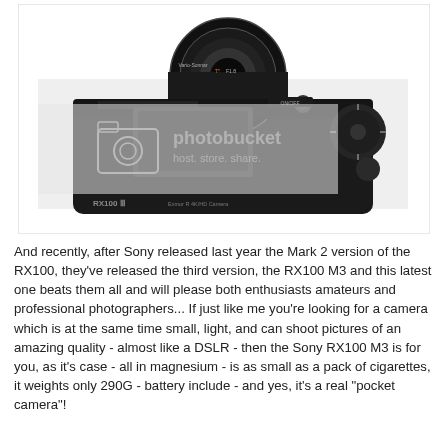[Figure (photo): Top-down view of a Sony RX100 III compact camera (black), showing the lens, control dial, and top plate. Image has a Photobucket watermark overlay with text 'host. store. share.'.]
And recently, after Sony released last year the Mark 2 version of the RX100, they've released the third version, the RX100 M3 and this latest one beats them all and will please both enthusiasts amateurs and professional photographers... If just like me you're looking for a camera which is at the same time small, light, and can shoot pictures of an amazing quality - almost like a DSLR - then the Sony RX100 M3 is for you, as it's case - all in magnesium - is as small as a pack of cigarettes, it weights only 290G - battery include - and yes, it's a real "pocket camera"!